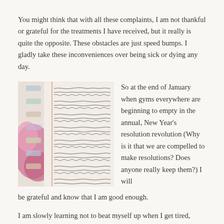You might think that with all these complaints, I am not thankful or grateful for the treatments I have received, but it really is quite the opposite. These obstacles are just speed bumps. I gladly take these inconveniences over being sick or dying any day.
[Figure (photo): A handwritten journal/planner open to a page with cursive writing and small decorative chain/garland drawings between lines, pink illustrated figures visible on the left side]
So at the end of January when gyms everywhere are beginning to empty in the annual, New Year's resolution revolution (Why is it that we are compelled to make resolutions? Does anyone really keep them?) I will be grateful and know that I am good enough.
I am slowly learning not to beat myself up when I get tired, when I can't do something I used to find easy, or when I'm